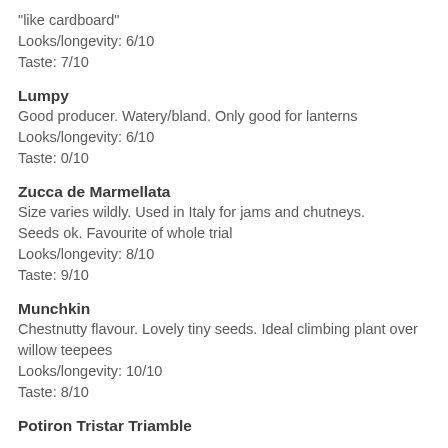"like cardboard"
Looks/longevity: 6/10
Taste: 7/10
Lumpy
Good producer. Watery/bland. Only good for lanterns
Looks/longevity: 6/10
Taste: 0/10
Zucca de Marmellata
Size varies wildly. Used in Italy for jams and chutneys. Seeds ok. Favourite of whole trial
Looks/longevity: 8/10
Taste: 9/10
Munchkin
Chestnutty flavour. Lovely tiny seeds. Ideal climbing plant over willow teepees
Looks/longevity: 10/10
Taste: 8/10
Potiron Tristar Triamble